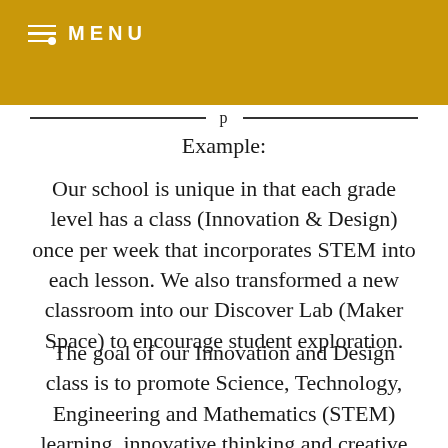MENU
Example:
Our school is unique in that each grade level has a class (Innovation & Design) once per week that incorporates STEM into each lesson. We also transformed a new classroom into our Discover Lab (Maker Space) to encourage student exploration.
The goal of our Innovation and Design class is to promote Science, Technology, Engineering and Mathematics (STEM) learning, innovative thinking and creative problem solving. This class is designed to promote a problem-based course of study